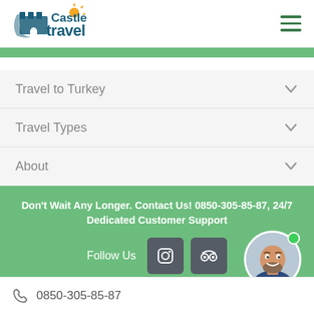[Figure (logo): Castle Travel logo with castle icon and sun]
Travel to Turkey
Travel Types
About
Don't Wait Any Longer. Contact Us! 0850-305-85-87, 24/7 Dedicated Customer Support
Follow Us
[Figure (illustration): Social media icons: Instagram and TripAdvisor]
[Figure (photo): Chat support agent avatar - smiling bald man with beard]
0850-305-85-87